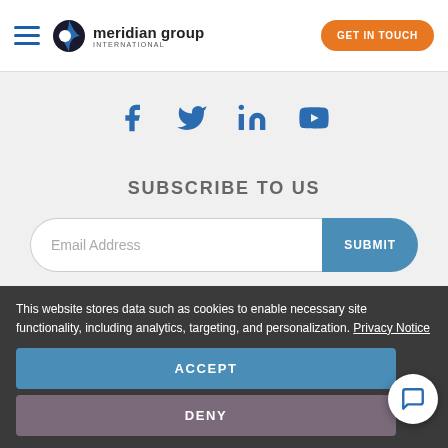[Figure (logo): Meridian Group International logo with hamburger menu and GET IN TOUCH button]
[Figure (infographic): Social media icons: Facebook, Twitter, LinkedIn, YouTube in blue]
SUBSCRIBE TO US
[Figure (screenshot): Email subscription form with Email Address input and SUBMIT button]
[Figure (other): GET IN TOUCH orange rounded button]
This website stores data such as cookies to enable necessary site functionality, including analytics, targeting, and personalization. Privacy Notice
[Figure (other): ACCEPT button in blue]
[Figure (other): DENY button in gray-purple]